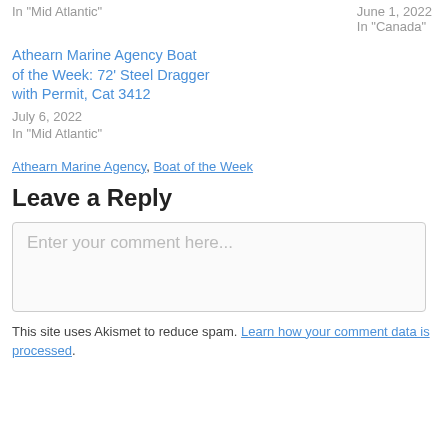In "Mid Atlantic"
June 1, 2022
In "Canada"
Athearn Marine Agency Boat of the Week: 72' Steel Dragger with Permit, Cat 3412
July 6, 2022
In "Mid Atlantic"
Athearn Marine Agency, Boat of the Week
Leave a Reply
Enter your comment here...
This site uses Akismet to reduce spam. Learn how your comment data is processed.